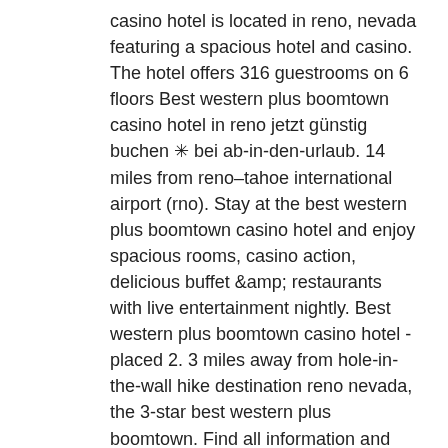casino hotel is located in reno, nevada featuring a spacious hotel and casino. The hotel offers 316 guestrooms on 6 floors Best western plus boomtown casino hotel in reno jetzt günstig buchen ✳ bei ab-in-den-urlaub. 14 miles from reno–tahoe international airport (rno). Stay at the best western plus boomtown casino hotel and enjoy spacious rooms, casino action, delicious buffet &amp; restaurants with live entertainment nightly. Best western plus boomtown casino hotel - placed 2. 3 miles away from hole-in-the-wall hike destination reno nevada, the 3-star best western plus boomtown. Find all information and best deals of best western plus boomtown casino hotel, reno on trip. Com! book the hotel with real traveler reviews. Best western plus boomtown casino hotel. Hotel best western plus boomtown casino hotel (formerly boomtown casino &amp; hotel). 2100 garson road, reno, nv 89439, usa - show map. Get directions, reviews and